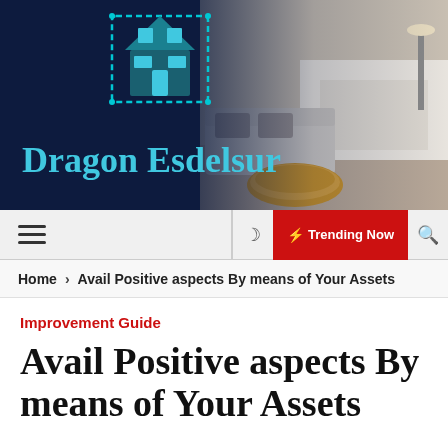[Figure (logo): Dragon Esdelsur website header banner with dark navy background, house/building icon in teal/cyan, brand name 'Dragon Esdelsur' in teal, and a living room photo on the right side]
☰  ☽  ⚡ Trending Now  🔍
Home > Avail Positive aspects By means of Your Assets
Improvement Guide
Avail Positive aspects By means of Your Assets